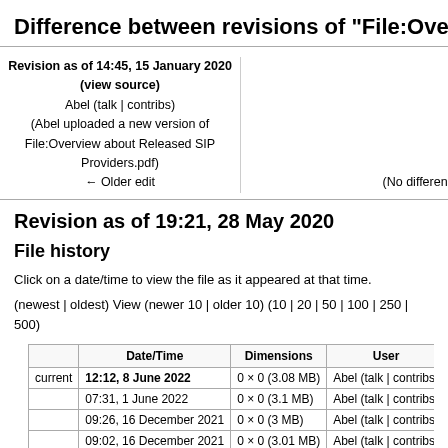Difference between revisions of "File:Overview about R
Revision as of 14:45, 15 January 2020 (view source)
Abel (talk | contribs)
(Abel uploaded a new version of File:Overview about Released SIP Providers.pdf)
← Older edit
(No difference)
Revision as of 19:21, 28 May 2020
File history
Click on a date/time to view the file as it appeared at that time.
(newest | oldest) View (newer 10 | older 10) (10 | 20 | 50 | 100 | 250 | 500)
|  | Date/Time | Dimensions | User |  |
| --- | --- | --- | --- | --- |
| current | 12:12, 8 June 2022 | 0 × 0 (3.08 MB) | Abel (talk | contribs) | V3R2 enviate |
|  | 07:31, 1 June 2022 | 0 × 0 (3.1 MB) | Abel (talk | contribs) | update for V3 |
|  | 09:26, 16 December 2021 | 0 × 0 (3 MB) | Abel (talk | contribs) | V3R1 FR2 - f |
|  | 09:02, 16 December 2021 | 0 × 0 (3.01 MB) | Abel (talk | contribs) | V3R1 FR2 up |
|  | 07:56, 3 March 2021 | 0 × 0 (2.94 MB) | Abel (talk | contribs) | update for V3 |
|  | 11:38, 29 October 2020 | 0 × 0 (2.36 MB) | Abel (talk | contribs) | update for V3 |
|  | 19:21, 28 May 2020 | 0 × 0 (2.6 MB) | Abel (talk | contribs) | Update for V3 |